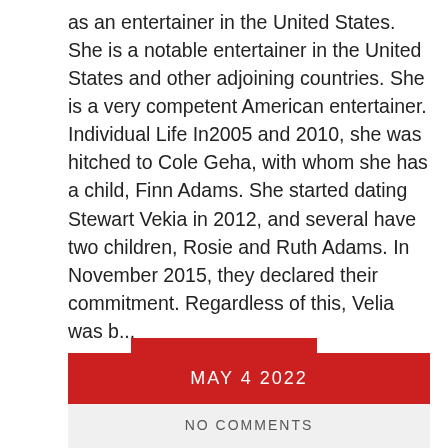as an entertainer in the United States. She is a notable entertainer in the United States and other adjoining countries. She is a very competent American entertainer. Individual Life In2005 and 2010, she was hitched to Cole Geha, with whom she has a child, Finn Adams. She started dating Stewart Vekia in 2012, and several have two children, Rosie and Ruth Adams. In November 2015, they declared their commitment. Regardless of this, Velia was b...
Read More
SHARE
MAY 4 2022
NO COMMENTS